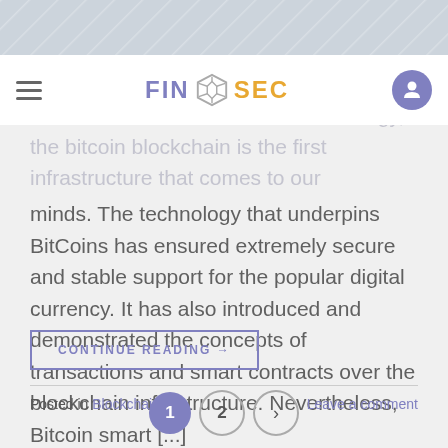[Figure (screenshot): Top decorative image strip with diagonal line pattern in grey/blue tones]
FIN [logo] SEC
when it comes to blockchain technology, the bitcoin blockchain is the first infrastructure that comes to our minds. The technology that underpins BitCoins has ensured extremely secure and stable support for the popular digital currency. It has also introduced and demonstrated the concepts of transactions and smart contracts over the blockchain infrastructure. Nevertheless, Bitcoin smart [...]
CONTINUE READING →
Posted in Blockchain    Leave a comment
1  2  >